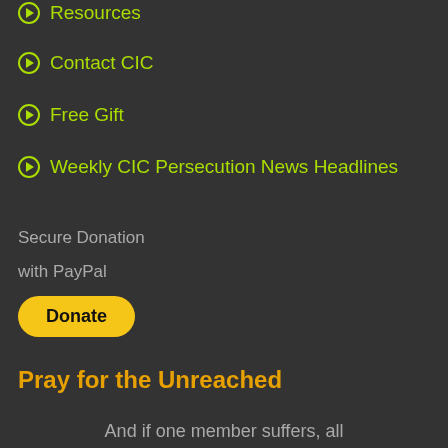Resources
Contact CIC
Free Gift
Weekly CIC Persecution News Headlines
Secure Donation
with PayPal
[Figure (other): PayPal Donate button - yellow rounded button with bold black text 'Donate']
Pray for the Unreached
And if one member suffers, all